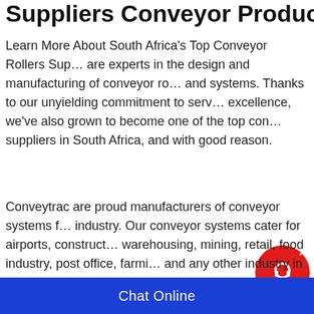Suppliers Conveyor Products And Syste…
Learn More About South Africa's Top Conveyor Rollers Sup… are experts in the design and manufacturing of conveyor ro… and systems. Thanks to our unyielding commitment to serv… excellence, we've also grown to become one of the top con… suppliers in South Africa, and with good reason.
[Figure (other): Live chat widget with red circular icon showing headset, close X button, dark box with 'Chat Now' text]
Conveytrac are proud manufacturers of conveyor systems f… industry. Our conveyor systems cater for airports, construct… warehousing, mining, retail, food industry, post office, farmi… and any other industry in need of specialised
Conveyor Systems
Chat Online